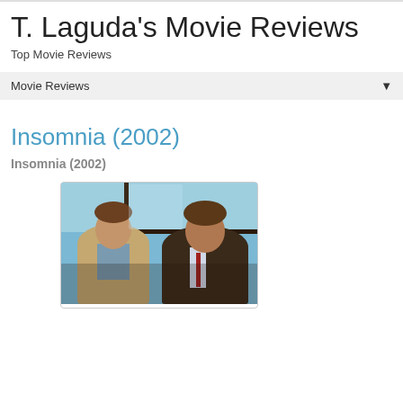T. Laguda's Movie Reviews
Top Movie Reviews
Movie Reviews
Insomnia (2002)
Insomnia (2002)
[Figure (photo): Two men sitting on what appears to be a bus or train, facing each other in conversation. One is wearing a tan/beige jacket and the other a dark brown leather jacket with a red tie. A window is visible in the background.]